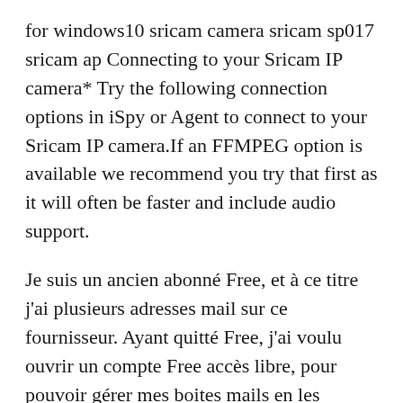for windows10 sricam camera sricam sp017 sricam ap Connecting to your Sricam IP camera* Try the following connection options in iSpy or Agent to connect to your Sricam IP camera.If an FFMPEG option is available we recommend you try that first as it will often be faster and include audio support.
Je suis un ancien abonné Free, et à ce titre j'ai plusieurs adresses mail sur ce fournisseur. Ayant quitté Free, j'ai voulu ouvrir un compte Free accès libre, pour pouvoir gérer mes boites mails en les rattachant à ce nouveau compte. Nauja Sricam kupoline belaidė lauko kamera WiFi Kamera galima sukinėti tiek telefonu tiek su kompiuteriu ! Ši kamera yra puikus pasirinkimas